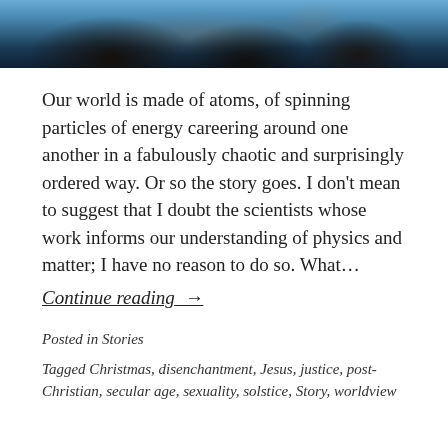[Figure (photo): A dark photograph of birds or animals against a blue sky, showing textured dark forms in the lower portion and blue sky in the upper portion.]
Our world is made of atoms, of spinning particles of energy careering around one another in a fabulously chaotic and surprisingly ordered way. Or so the story goes. I don’t mean to suggest that I doubt the scientists whose work informs our understanding of physics and matter; I have no reason to do so. What...
Continue reading →
Posted in Stories
Tagged Christmas, disenchantment, Jesus, justice, post-Christian, secular age, sexuality, solstice, Story, worldview